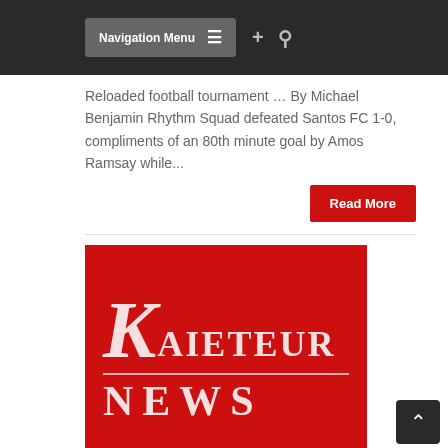Navigation Menu ≡  +  🔍
Reloaded football tournament … By Michael Benjamin Rhythm Squad defeated Santos FC 1-0, compliments of an 80th minute goal by Amos Ramsay while...
Read More
[Figure (logo): Kaieteur News logo — white serif K followed by AIETEUR on top line, NEWS on bottom line, on red background]